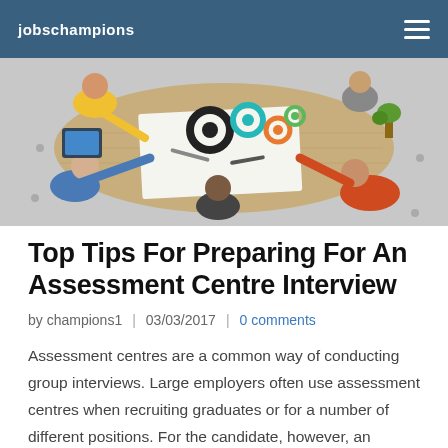jobschampions
[Figure (photo): Overhead/top-down view of a diverse group of people sitting around a table working together, with colorful gear icons visible on paper on the table.]
Top Tips For Preparing For An Assessment Centre Interview
by champions1 | 03/03/2017 | 0 comments
Assessment centres are a common way of conducting group interviews. Large employers often use assessment centres when recruiting graduates or for a number of different positions. For the candidate, however, an